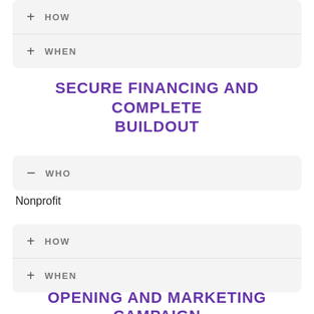+ HOW
+ WHEN
SECURE FINANCING AND COMPLETE BUILDOUT
— WHO
Nonprofit
+ HOW
+ WHEN
OPENING AND MARKETING CAMPAIGN